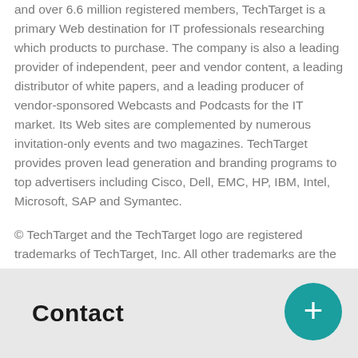and over 6.6 million registered members, TechTarget is a primary Web destination for IT professionals researching which products to purchase. The company is also a leading provider of independent, peer and vendor content, a leading distributor of white papers, and a leading producer of vendor-sponsored Webcasts and Podcasts for the IT market. Its Web sites are complemented by numerous invitation-only events and two magazines. TechTarget provides proven lead generation and branding programs to top advertisers including Cisco, Dell, EMC, HP, IBM, Intel, Microsoft, SAP and Symantec.
© TechTarget and the TechTarget logo are registered trademarks of TechTarget, Inc. All other trademarks are the property of their respective owners.
Contact